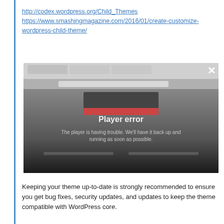http://codex.wordpress.org/Child_Themes
https://www.smashingmagazine.com/2016/01/create-customize-wordpress-child-theme/
[Figure (screenshot): Screenshot of a browser showing a video player error message: 'Player error - The player is having trouble. We'll have it back up and running as soon as possible.']
Keeping your theme up-to-date is strongly recommended to ensure you get bug fixes, security updates, and updates to keep the theme compatible with WordPress core.